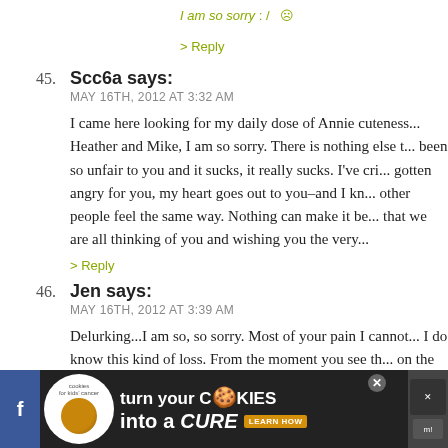I am so sorry :(
> Reply
45. Scc6a says:
MAY 16TH, 2012 AT 3:32 AM
I came here looking for my daily dose of Annie cuteness... Heather and Mike, I am so sorry. There is nothing else t... been so unfair to you and it sucks, it really sucks. I've cri... gotten angry for you, my heart goes out to you–and I kn... other people feel the same way. Nothing can make it be... that we are all thinking of you and wishing you the very...
> Reply
46. Jen says:
MAY 16TH, 2012 AT 3:39 AM
Delurking...I am so, so sorry. Most of your pain I cannot... I do know this kind of loss. From the moment you see th... on the test, you're a mommy and that's your baby. It's g...
[Figure (screenshot): Advertisement banner: 'turn your COOKIES into a CURE LEARN HOW' - cookies for kids cancer ad with close buttons and social media icons]